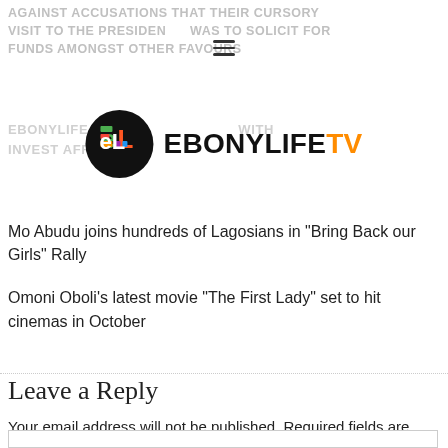AGAINST ACCUSATIONS THAT THEIR CURSORY VISIT TO THE PRESIDENT WAS TO SOLICIT FOR FUNDS AMONGST OTHER FAVOURS
[Figure (logo): EbonyLife TV logo with colorful EL initials in a black circle, beside EBONYLIFETV text with TV in orange]
EBONYLIFE TV ... WITH INVEST AFRIC...
Mo Abudu joins hundreds of Lagosians in "Bring Back our Girls" Rally
Omoni Oboli's latest movie "The First Lady" set to hit cinemas in October
Leave a Reply
Your email address will not be published. Required fields are marked *